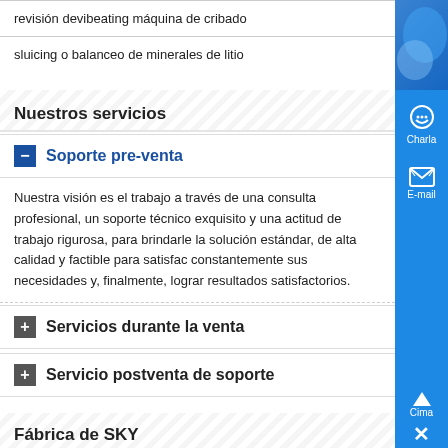revisión devibeating máquina de cribado
sluicing o balanceo de minerales de litio
Nuestros servicios
— Soporte pre-venta
Nuestra visión es el trabajo a través de una consulta profesional, un soporte técnico exquisito y una actitud de trabajo rigurosa, para brindarle la solución estándar, de alta calidad y factible para satisfac constantemente sus necesidades y, finalmente, lograr resultados satisfactorios.
+ Servicios durante la venta
+ Servicio postventa de soporte
Fábrica de SKY
La oficina central de SKY está en Shanghai, la compañía del cen financiero internacional: